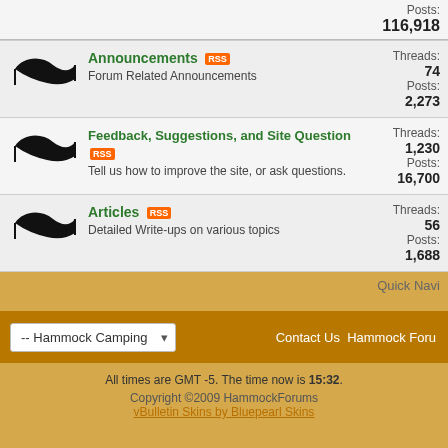Posts: 116,918
Announcements
Forum Related Announcements
Threads: 74 Posts: 2,273
Feedback, Suggestions, and Site Questions
Tell us how to improve the site, or ask questions.
Threads: 1,230 Posts: 16,700
Articles
Detailed Write-ups on various topics
Threads: 56 Posts: 1,688
Quick Navi
-- Hammock Camping
Contact Us  Hammock Foru
All times are GMT -5. The time now is 15:32.
Copyright ©2009 HammockForums
vBulletin Skins by Bluepearl Skins